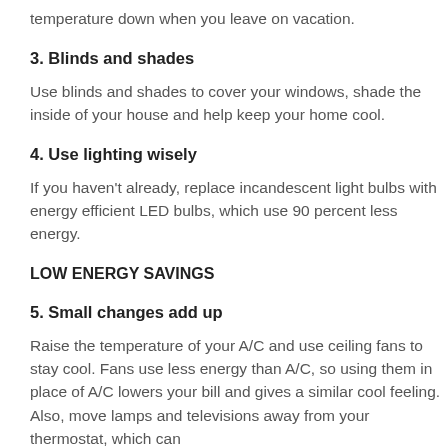temperature down when you leave on vacation.
3. Blinds and shades
Use blinds and shades to cover your windows, shade the inside of your house and help keep your home cool.
4. Use lighting wisely
If you haven't already, replace incandescent light bulbs with energy efficient LED bulbs, which use 90 percent less energy.
LOW ENERGY SAVINGS
5. Small changes add up
Raise the temperature of your A/C and use ceiling fans to stay cool. Fans use less energy than A/C, so using them in place of A/C lowers your bill and gives a similar cool feeling. Also, move lamps and televisions away from your thermostat, which can